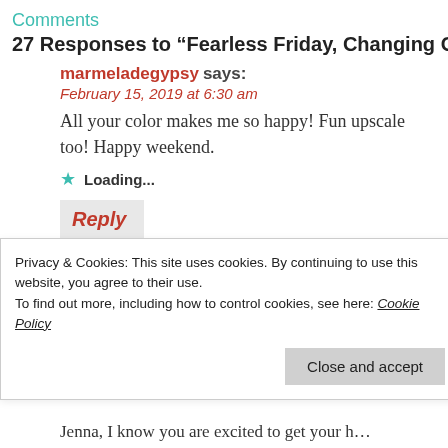Comments
27 Responses to “Fearless Friday, Changing Colo…”
marmeladegypsy says:
February 15, 2019 at 6:30 am
All your color makes me so happy! Fun upscale too! Happy weekend.
Loading...
Reply
the Painted Apron says:
February 15, 2019 at 7:31 am
Thanks Jeanie! Happy weekend to you, I ho…
Privacy & Cookies: This site uses cookies. By continuing to use this website, you agree to their use.
To find out more, including how to control cookies, see here: Cookie Policy
Close and accept
Jenna, I know you are excited to get your h…